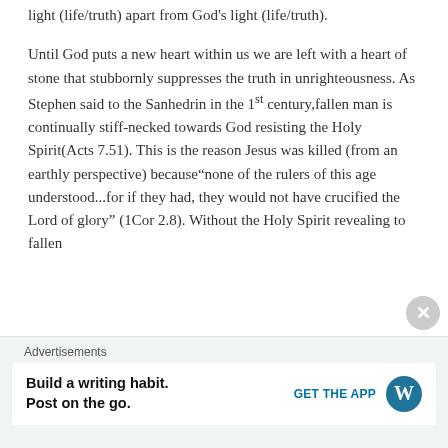light (life/truth) apart from God's light (life/truth).
Until God puts a new heart within us we are left with a heart of stone that stubbornly suppresses the truth in unrighteousness. As Stephen said to the Sanhedrin in the 1st century,fallen man is continually stiff-necked towards God resisting the Holy Spirit(Acts 7.51). This is the reason Jesus was killed (from an earthly perspective) because“none of the rulers of this age understood...for if they had, they would not have crucified the Lord of glory” (1Cor 2.8). Without the Holy Spirit revealing to fallen
Advertisements
Build a writing habit. Post on the go.
GET THE APP